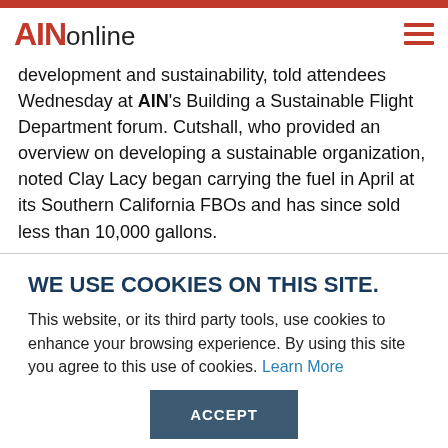AINonline
development and sustainability, told attendees Wednesday at AIN's Building a Sustainable Flight Department forum. Cutshall, who provided an overview on developing a sustainable organization, noted Clay Lacy began carrying the fuel in April at its Southern California FBOs and has since sold less than 10,000 gallons.
WE USE COOKIES ON THIS SITE.
This website, or its third party tools, use cookies to enhance your browsing experience. By using this site you agree to this use of cookies. Learn More
ACCEPT